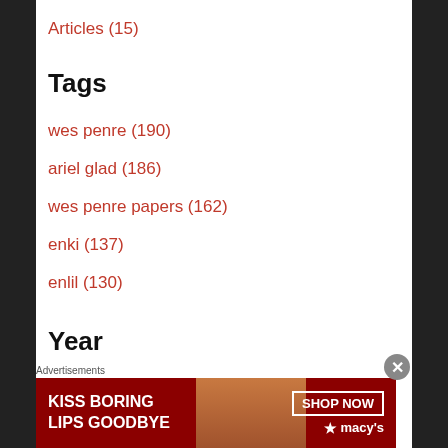Articles (15)
Tags
wes penre (190)
ariel glad (186)
wes penre papers (162)
enki (137)
enlil (130)
Year
2022 (50)
2021 (72)
2020 (99)
[Figure (other): Macy's advertisement banner: KISS BORING LIPS GOODBYE, SHOP NOW, macy's logo]